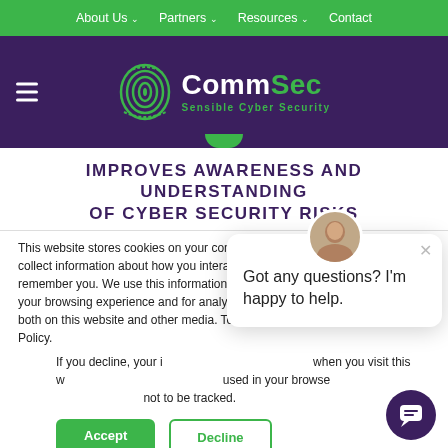About Us ∨   Partners ∨   Resources ∨   Contact
[Figure (logo): CommSec Sensible Cyber Security logo with fingerprint icon on purple background]
IMPROVES AWARENESS AND UNDERSTANDING OF CYBER SECURITY RISKS
This website stores cookies on your computer. These cookies are used to collect information about how you interact with our website and allow us to remember you. We use this information in order to improve and customize your browsing experience and for analytics and metrics about our visitors both on this website and other media. To find out more about the cookies we use, see our Privacy Policy.
If you decline, your information won't be tracked when you visit this website. A single cookie will be used in your browser to remember your preference not to be tracked.
Got any questions? I'm happy to help.
Accept   Decline